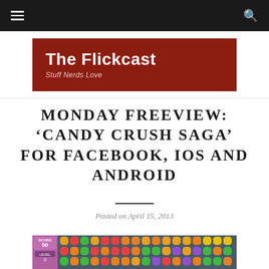Navigation bar with hamburger menu and search icon
[Figure (logo): The Flickcast logo banner in dark red with white text reading 'The Flickcast' and subtitle 'Stuff Nerds Love']
MONDAY FREEVIEW: 'CANDY CRUSH SAGA' FOR FACEBOOK, IOS AND ANDROID
Posted on April 15, 2013
[Figure (screenshot): Candy Crush Saga gameplay screenshot showing colorful candy pieces on a game board]